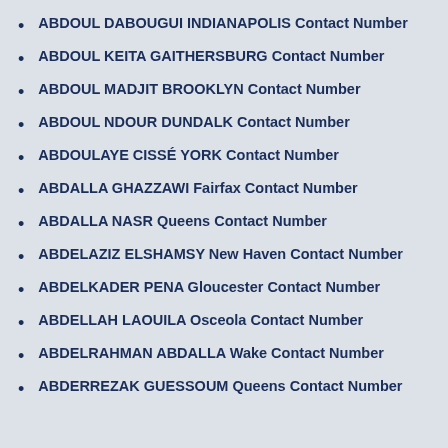ABDOUL DABOUGUI INDIANAPOLIS Contact Number
ABDOUL KEITA GAITHERSBURG Contact Number
ABDOUL MADJIT BROOKLYN Contact Number
ABDOUL NDOUR DUNDALK Contact Number
ABDOULAYE CISSÉ YORK Contact Number
ABDALLA GHAZZAWI Fairfax Contact Number
ABDALLA NASR Queens Contact Number
ABDELAZIZ ELSHAMSY New Haven Contact Number
ABDELKADER PENA Gloucester Contact Number
ABDELLAH LAOUILA Osceola Contact Number
ABDELRAHMAN ABDALLA Wake Contact Number
ABDERREZAK GUESSOUM Queens Contact Number